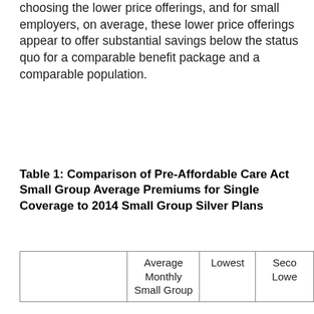choosing the lower price offerings, and for small employers, on average, these lower price offerings appear to offer substantial savings below the status quo for a comparable benefit package and a comparable population.
Table 1: Comparison of Pre-Affordable Care Act Small Group Average Premiums for Single Coverage to 2014 Small Group Silver Plans
|  | Average Monthly Small Group | Lowest | Second Lowest |
| --- | --- | --- | --- |